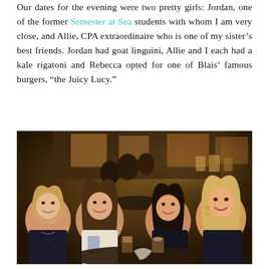Our dates for the evening were two pretty girls: Jordan, one of the former Semester at Sea students with whom I am very close, and Allie, CPA extraordinaire who is one of my sister's best friends. Jordan had goat linguini, Allie and I each had a kale rigatoni and Rebecca opted for one of Blais' famous burgers, “the Juicy Lucy.”
[Figure (photo): Four young women sitting at a restaurant table at night, smiling at the camera. The setting appears to be an outdoor or semi-outdoor restaurant with warm ambient lighting in the background.]